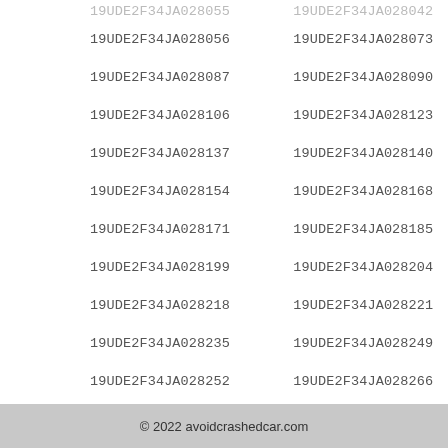19UDE2F34JA028055   19UDE2F34JA028042
19UDE2F34JA028056   19UDE2F34JA028073
19UDE2F34JA028087   19UDE2F34JA028090
19UDE2F34JA028106   19UDE2F34JA028123
19UDE2F34JA028137   19UDE2F34JA028140
19UDE2F34JA028154   19UDE2F34JA028168
19UDE2F34JA028171   19UDE2F34JA028185
19UDE2F34JA028199   19UDE2F34JA028204
19UDE2F34JA028218   19UDE2F34JA028221
19UDE2F34JA028235   19UDE2F34JA028249
19UDE2F34JA028252   19UDE2F34JA028266
© 2022 avoidcrashedcar.com